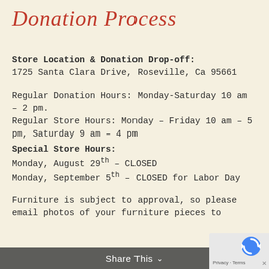Donation Process
Store Location & Donation Drop-off:
1725 Santa Clara Drive, Roseville, Ca 95661
Regular Donation Hours: Monday-Saturday 10 am – 2 pm.
Regular Store Hours: Monday – Friday 10 am – 5 pm, Saturday 9 am – 4 pm
Special Store Hours:
Monday, August 29th – CLOSED
Monday, September 5th – CLOSED for Labor Day
Furniture is subject to approval, so please email photos of your furniture pieces to
Share This